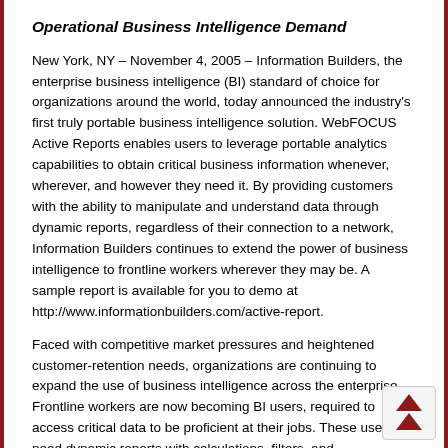Operational Business Intelligence Demand
New York, NY – November 4, 2005 – Information Builders, the enterprise business intelligence (BI) standard of choice for organizations around the world, today announced the industry's first truly portable business intelligence solution. WebFOCUS Active Reports enables users to leverage portable analytics capabilities to obtain critical business information whenever, wherever, and however they need it. By providing customers with the ability to manipulate and understand data through dynamic reports, regardless of their connection to a network, Information Builders continues to extend the power of business intelligence to frontline workers wherever they may be. A sample report is available for you to demo at http://www.informationbuilders.com/active-report.
Faced with competitive market pressures and heightened customer-retention needs, organizations are continuing to expand the use of business intelligence across the enterprise. Frontline workers are now becoming BI users, required to access critical data to be proficient at their jobs. These users need dynamic reports with calculations, filters, and visualizations even though they may not be connected to the Internet, such as while traveling or working remotely. WebFOCUS Active Reports' portable analytics empowers users with near-real-t